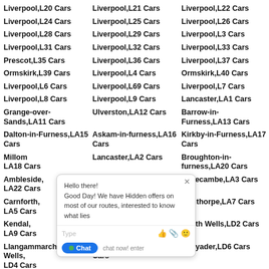Liverpool,L20 Cars
Liverpool,L21 Cars
Liverpool,L22 Cars
Liverpool,L24 Cars
Liverpool,L25 Cars
Liverpool,L26 Cars
Liverpool,L28 Cars
Liverpool,L29 Cars
Liverpool,L3 Cars
Liverpool,L31 Cars
Liverpool,L32 Cars
Liverpool,L33 Cars
Prescot,L35 Cars
Liverpool,L36 Cars
Liverpool,L37 Cars
Ormskirk,L39 Cars
Liverpool,L4 Cars
Ormskirk,L40 Cars
Liverpool,L6 Cars
Liverpool,L69 Cars
Liverpool,L7 Cars
Liverpool,L8 Cars
Liverpool,L9 Cars
Lancaster,LA1 Cars
Grange-over-Sands,LA11 Cars
Ulverston,LA12 Cars
Barrow-in-Furness,LA13 Cars
Dalton-in-Furness,LA15 Cars
Askam-in-furness,LA16 Cars
Kirkby-in-Furness,LA17 Cars
Millom,LA18 Cars
Lancaster,LA2 Cars
Broughton-in-furness,LA20 Cars
Ambleside,LA22 Cars
Windermere,LA23 Cars
Morecambe,LA3 Cars
Carnforth,LA5 Cars
Carnforth,LA6 Cars
Milnthorpe,LA7 Cars
Kendal,LA9 Cars
Llandrindod Wells,LD1 Cars
Builth Wells,LD2 Cars
Llangammarch Wells,LD4 Cars
Llanwrtyd Wells,LD5 Cars
Rhayader,LD6 Cars